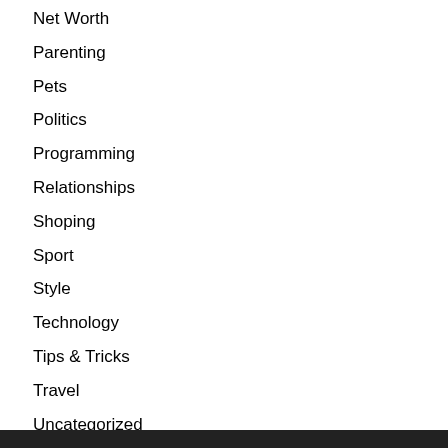Net Worth
Parenting
Pets
Politics
Programming
Relationships
Shoping
Sport
Style
Technology
Tips & Tricks
Travel
Uncategorized